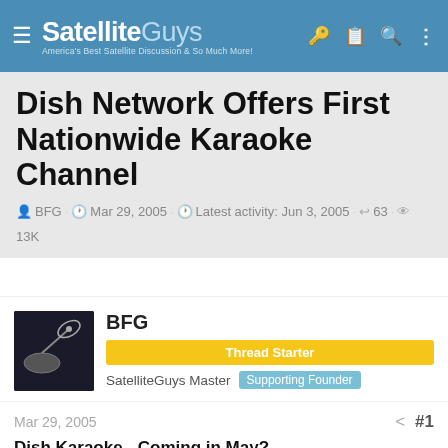SatelliteGuys — America's Best Satellite Discussion & So Much More!
Dish Network Offers First Nationwide Karaoke Channel
BFG · Mar 29, 2005 · Latest activity: Jun 3, 2005 · 63 · 13K
< DISH Network Support Forum
BFG
Thread Starter
SatelliteGuys Master  Supporting Founder
Mar 29, 2005  #1
Dish Karaoke - Coming in May?